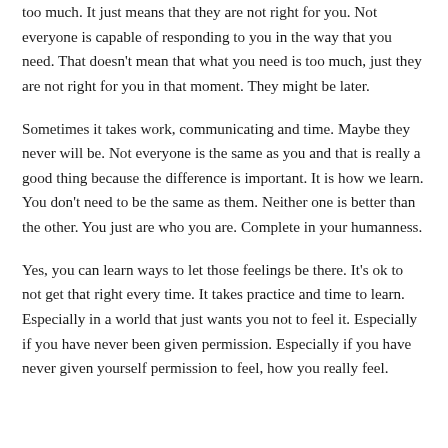too much. It just means that they are not right for you. Not everyone is capable of responding to you in the way that you need. That doesn't mean that what you need is too much, just they are not right for you in that moment. They might be later.
Sometimes it takes work, communicating and time. Maybe they never will be. Not everyone is the same as you and that is really a good thing because the difference is important. It is how we learn. You don't need to be the same as them. Neither one is better than the other. You just are who you are. Complete in your humanness.
Yes, you can learn ways to let those feelings be there. It's ok to not get that right every time. It takes practice and time to learn. Especially in a world that just wants you not to feel it. Especially if you have never been given permission. Especially if you have never given yourself permission to feel, how you really feel.